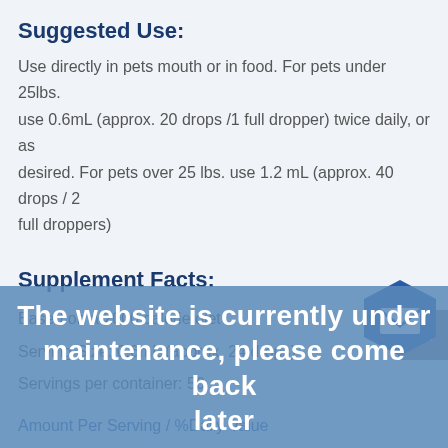Suggested Use:
Use directly in pets mouth or in food. For pets under 25lbs. use 0.6mL (approx. 20 drops /1 full dropper) twice daily, or as desired. For pets over 25 lbs. use 1.2 mL (approx. 40 drops / 2 full droppers)
Supplement Facts:
Based on a 2000 calorie diet
Serving Size: 0.6mL (approx. 24 drops)
Servings per container: 50
Amount Per Serving / %Daily Value
The website is currently under maintenance, please come back later